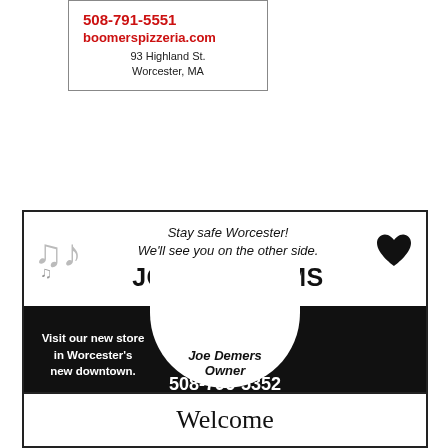508-791-5551
boomerspizzeria.com
93 Highland St.
Worcester, MA
[Figure (illustration): Joe's Albums advertisement. Black and white ad with music notes icon, heart icon, tagline 'Stay safe Worcester! We'll see you on the other side.', business name JOE'S ALBUMS, owner Joe Demers, phone 508-796-5352, address 317 Main Street Worcester Ma, www.JoesAlbums.com, facebook.com/joesalbums, Twitter.com/joesalbums, 'Visit our new store in Worcester's new downtown.']
Welcome